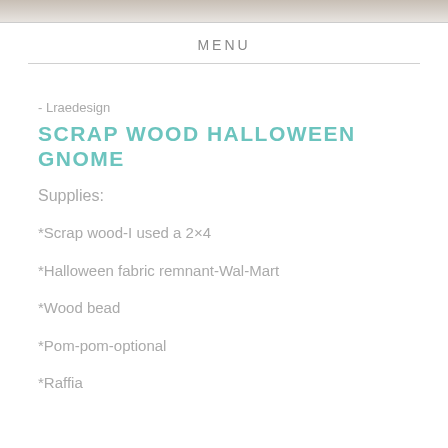[Figure (photo): Top portion of image showing wood texture or craft project photo]
MENU
- Lraedesign
SCRAP WOOD HALLOWEEN GNOME
Supplies:
*Scrap wood-I used a 2×4
*Halloween fabric remnant-Wal-Mart
*Wood bead
*Pom-pom-optional
*Raffia